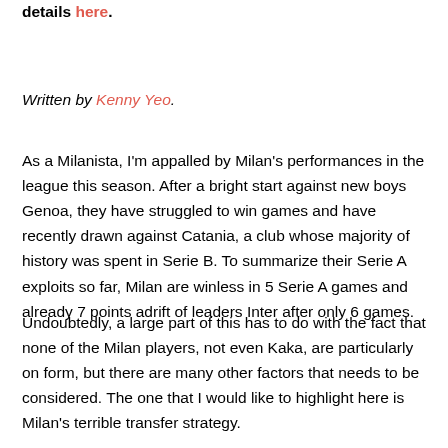details here.
Written by Kenny Yeo.
As a Milanista, I'm appalled by Milan's performances in the league this season. After a bright start against new boys Genoa, they have struggled to win games and have recently drawn against Catania, a club whose majority of history was spent in Serie B. To summarize their Serie A exploits so far, Milan are winless in 5 Serie A games and already 7 points adrift of leaders Inter after only 6 games.
Undoubtedly, a large part of this has to do with the fact that none of the Milan players, not even Kaka, are particularly on form, but there are many other factors that needs to be considered. The one that I would like to highlight here is Milan's terrible transfer strategy.